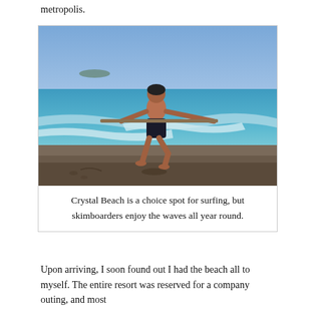metropolis.
[Figure (photo): A boy running along a beach shoreline holding a skimboard, with ocean waves behind him and a clear blue sky.]
Crystal Beach is a choice spot for surfing, but skimboarders enjoy the waves all year round.
Upon arriving, I soon found out I had the beach all to myself. The entire resort was reserved for a company outing, and most